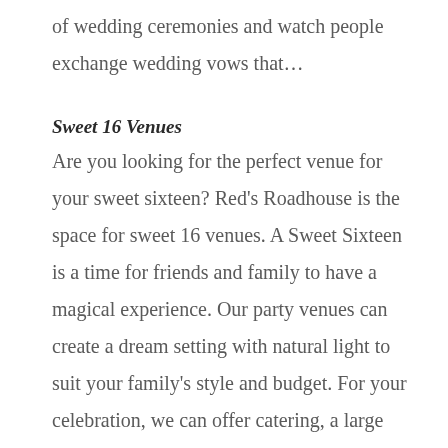of wedding ceremonies and watch people exchange wedding vows that…
Sweet 16 Venues
Are you looking for the perfect venue for your sweet sixteen? Red's Roadhouse is the space for sweet 16 venues. A Sweet Sixteen is a time for friends and family to have a magical experience. Our party venues can create a dream setting with natural light to suit your family's style and budget. For your celebration, we can offer catering, a large dance floor, an elevated stage, a full bar